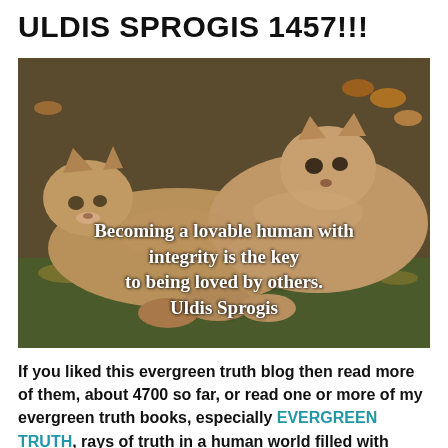ULDIS SPROGIS 1457!!!
[Figure (photo): Two cougars/mountain lions resting together on grass and leaves. One appears to be grooming or nuzzling the other. Overlaid white bold text reads: 'Becoming a lovable human with integrity is the key to being loved by others. Uldis Sprogis']
If you liked this evergreen truth blog then read more of them, about 4700 so far, or read one or more of my evergreen truth books, especially EVERGREEN TRUTH, rays of truth in a human world filled with